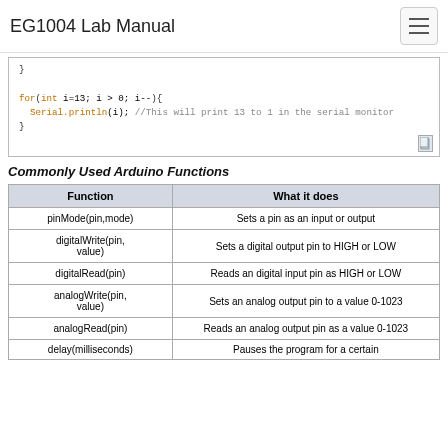EG1004 Lab Manual
[Figure (screenshot): Code block showing a closing brace and a for loop: for(int i=13; i > 0; i--){ Serial.println(i); //This will print 13 to 1 in the serial monitor }]
Commonly Used Arduino Functions
| Function | What it does |
| --- | --- |
| pinMode(pin,mode) | Sets a pin as an input or output |
| digitalWrite(pin, value) | Sets a digital output pin to HIGH or LOW |
| digitalRead(pin) | Reads an digital input pin as HIGH or LOW |
| analogWrite(pin, value) | Sets an analog output pin to a value 0-1023 |
| analogRead(pin) | Reads an analog output pin as a value 0-1023 |
| delay(milliseconds) | Pauses the program for a certain |